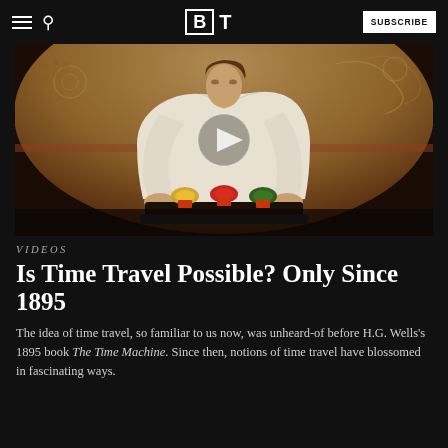BI T — SUBSCRIBE
[Figure (photo): A man in a white open-collar shirt leaning over a futuristic machine with glass domes and colored crystals, with ornate painted murals in the background. A play button overlay is visible in the center of the image.]
VIDEOS
Is Time Travel Possible? Only Since 1895
The idea of time travel, so familiar to us now, was unheard-of before H.G. Wells's 1895 book The Time Machine. Since then, notions of time travel have blossomed in fascinating ways.